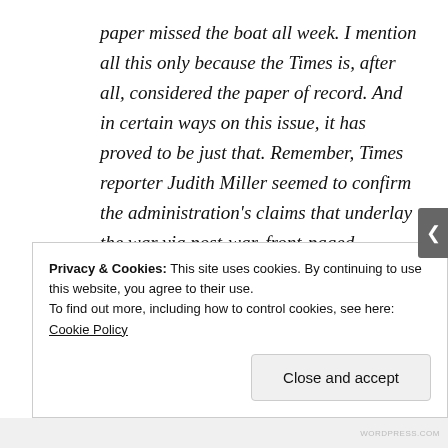paper missed the boat all week. I mention all this only because the Times is, after all, considered the paper of record. And in certain ways on this issue, it has proved to be just that. Remember, Times reporter Judith Miller seemed to confirm the administration's claims that underlay the war via post-war, front-paged bombshell revelations about supposed discoveries of Iraqi WMD, which turned out to be bogus, as she wandered around Iraq with a
Privacy & Cookies: This site uses cookies. By continuing to use this website, you agree to their use.
To find out more, including how to control cookies, see here: Cookie Policy
Close and accept